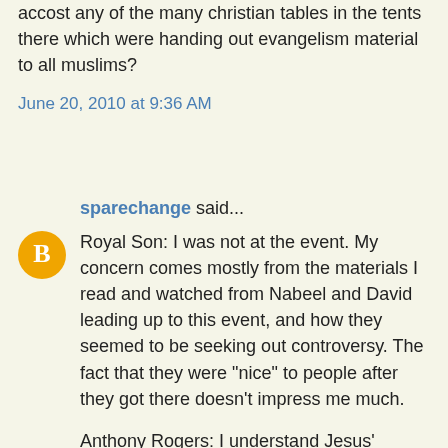accost any of the many christian tables in the tents there which were handing out evangelism material to all muslims?
June 20, 2010 at 9:36 AM
sparechange said...
Royal Son: I was not at the event. My concern comes mostly from the materials I read and watched from Nabeel and David leading up to this event, and how they seemed to be seeking out controversy. The fact that they were "nice" to people after they got there doesn't impress me much.

Anthony Rogers: I understand Jesus' message was offensive to many, and that he even warned us it would be so. And I have read the passage in John 6 before. However, Jesus also did not approach the lame, the sick, or the woman at the well with a video camera and a series of questions and accusations about their false beliefs. He seemed to save that kind of discourse for the "blind guides," who purported themselves to be the spiritual leaders of the day. He was naturally offensive